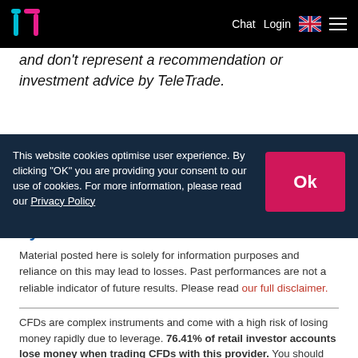TeleTrade — Chat Login [UK flag] [menu]
and don't represent a recommendation or investment advice by TeleTrade.
This website cookies optimise user experience. By clicking "OK" you are providing your consent to our use of cookies. For more information, please read our Privacy Policy
Lysak
Material posted here is solely for information purposes and reliance on this may lead to losses. Past performances are not a reliable indicator of future results. Please read our full disclaimer.
CFDs are complex instruments and come with a high risk of losing money rapidly due to leverage. 76.41% of retail investor accounts lose money when trading CFDs with this provider. You should consider whether you understand how CFDs work and whether you can afford to take the high risk of losing your money.